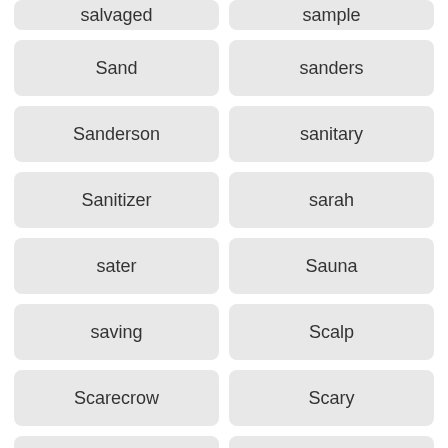salvaged
sample
Sand
sanders
Sanderson
sanitary
Sanitizer
sarah
sater
Sauna
saving
Scalp
Scarecrow
Scary
scenes
scheme
schemes
School
Scooby
scotland